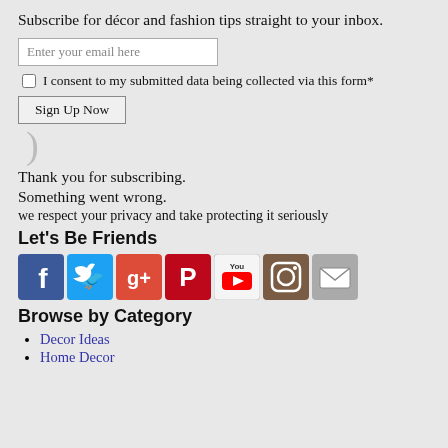Subscribe for décor and fashion tips straight to your inbox.
Enter your email here
I consent to my submitted data being collected via this form*
Sign Up Now
Thank you for subscribing.
Something went wrong.
we respect your privacy and take protecting it seriously
Let's Be Friends
[Figure (illustration): Row of social media icons: Facebook, Twitter, Google+, Pinterest, YouTube, Instagram, Email]
Browse by Category
Decor Ideas
Home Decor